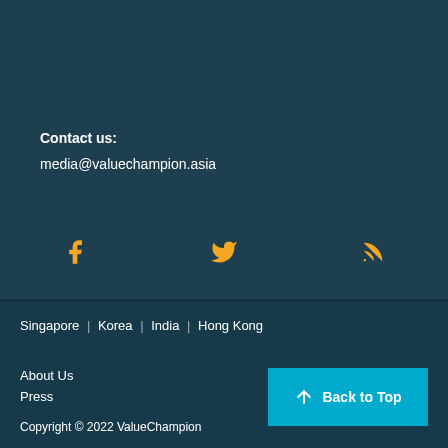Contact us:
media@valuechampion.asia
[Figure (other): Social media icons: Facebook, Twitter, RSS feed in gold/amber color on dark teal background]
Singapore  |  Korea  |  India  |  Hong Kong
About Us
Press
Copyright © 2022 ValueChampion
Back to Top